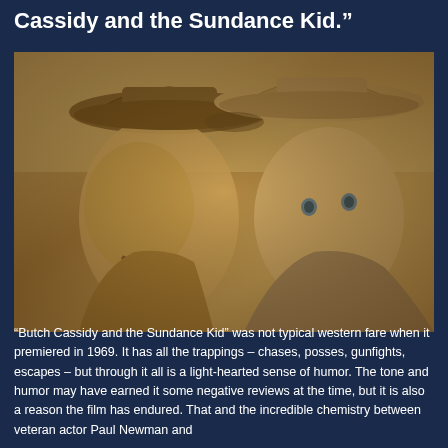Cassidy and the Sundance Kid.”
[Figure (photo): Sepia-toned photo of two men wearing western cowboy hats, close-up portrait style, reminiscent of the 1969 film Butch Cassidy and the Sundance Kid]
“Butch Cassidy and the Sundance Kid” was not typical western fare when it premiered in 1969. It has all the trappings – chases, posses, gunfights, escapes – but through it all is a light-hearted sense of humor. The tone and humor may have earned it some negative reviews at the time, but it is also a reason the film has endured. That and the incredible chemistry between veteran actor Paul Newman and